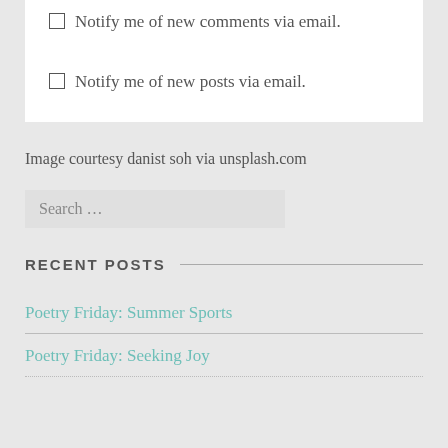Notify me of new comments via email.
Notify me of new posts via email.
Image courtesy danist soh via unsplash.com
Search …
RECENT POSTS
Poetry Friday: Summer Sports
Poetry Friday: Seeking Joy